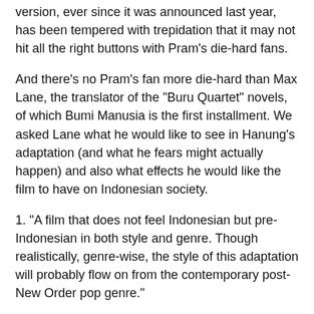version, ever since it was announced last year, has been tempered with trepidation that it may not hit all the right buttons with Pram's die-hard fans.
And there's no Pram's fan more die-hard than Max Lane, the translator of the "Buru Quartet" novels, of which Bumi Manusia is the first installment. We asked Lane what he would like to see in Hanung's adaptation (and what he fears might actually happen) and also what effects he would like the film to have on Indonesian society.
1. "A film that does not feel Indonesian but pre-Indonesian in both style and genre. Though realistically, genre-wise, the style of this adaptation will probably flow on from the contemporary post-New Order pop genre."
Lane had written a book of essays called "Indonesia Tidak Hadir di Bumi Manusia" (There Is No Indonesia in This Earth of Mankind), in which he argued that Pramoedya deliberately, and perceptively, avoided using the appellation "Indonesia" for a place that was then known as the Dutch East Indies.
Pramoedya is also known to be a fan of pre-Indonesian literature, the dime novels and folk stories written by Indo and Chinese-Indonesian writers in Melayu Pasar (Market